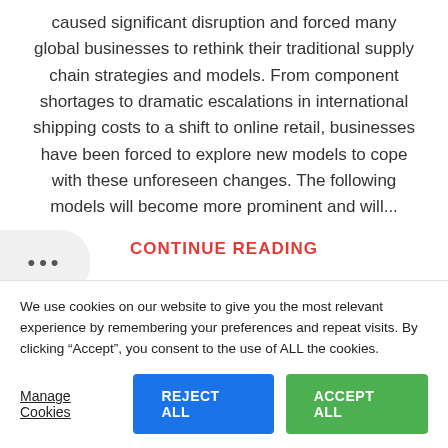caused significant disruption and forced many global businesses to rethink their traditional supply chain strategies and models. From component shortages to dramatic escalations in international shipping costs to a shift to online retail, businesses have been forced to explore new models to cope with these unforeseen changes. The following models will become more prominent and will...
CONTINUE READING
20
We use cookies on our website to give you the most relevant experience by remembering your preferences and repeat visits. By clicking “Accept”, you consent to the use of ALL the cookies.
Manage Cookies
REJECT ALL
ACCEPT ALL